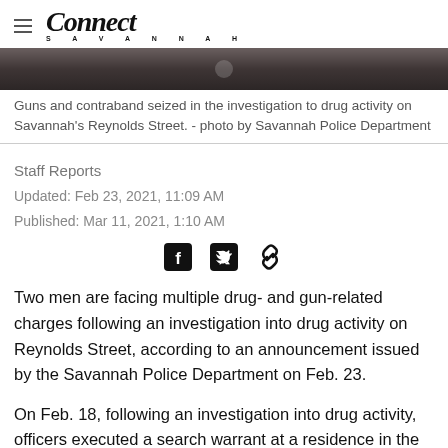Connect Savannah
[Figure (photo): Dark photo strip showing guns and contraband seized in drug investigation on Reynolds Street]
Guns and contraband seized in the investigation to drug activity on Savannah's Reynolds Street. - photo by Savannah Police Department
Staff Reports
Updated: Feb 23, 2021, 11:09 AM
Published: Mar 11, 2021, 1:10 AM
[Figure (infographic): Social sharing icons: Facebook, Twitter, link/chain]
Two men are facing multiple drug- and gun-related charges following an investigation into drug activity on Reynolds Street, according to an announcement issued by the Savannah Police Department on Feb. 23.
On Feb. 18, following an investigation into drug activity, officers executed a search warrant at a residence in the 2000 block of Reynolds Street.